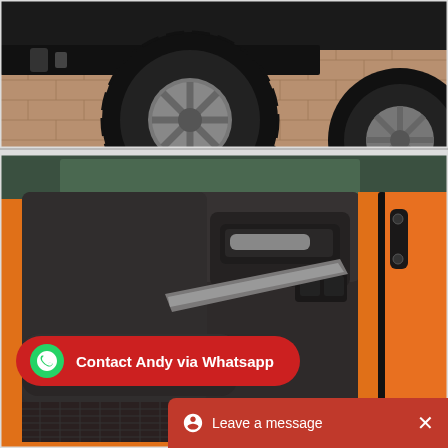[Figure (photo): Close-up photo of the front wheel and bumper area of a black off-road 4x4 vehicle (appears to be a Jeep Wrangler/similar) with large all-terrain tires on a brick/paver driveway]
[Figure (photo): Interior door panel of an orange Hummer H2 or similar SUV, showing dark gray door panel with armrest, door handle, and yellow/orange exterior body panel visible at edges]
Contact Andy via Whatsapp
Leave a message  X